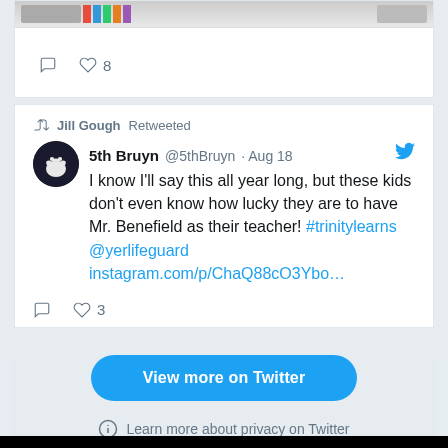[Figure (screenshot): Top of a tweet card showing action icons (reply, heart with count 8) at the bottom of a previous tweet]
Jill Gough Retweeted
5th Bruyn @5thBruyn · Aug 18
I know I'll say this all year long, but these kids don't even know how lucky they are to have Mr. Benefield as their teacher! #trinitylearns @yerlifeguard instagram.com/p/ChaQ88cO3Ybo…
♡ 3
View more on Twitter
ⓘ Learn more about privacy on Twitter